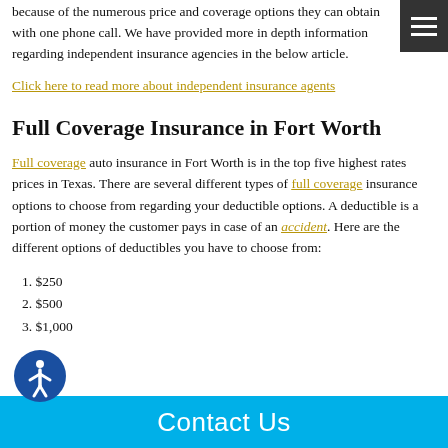because of the numerous price and coverage options they can obtain with one phone call. We have provided more in depth information regarding independent insurance agencies in the below article.
Click here to read more about independent insurance agents
Full Coverage Insurance in Fort Worth
Full coverage auto insurance in Fort Worth is in the top five highest rates prices in Texas. There are several different types of full coverage insurance options to choose from regarding your deductible options. A deductible is a portion of money the customer pays in case of an accident. Here are the different options of deductibles you have to choose from:
1. $250
2. $500
3. $1,000
Contact Us